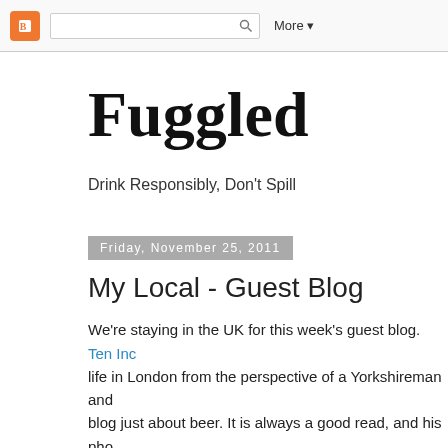Blogger navigation bar with search box and More button
Fuggled
Drink Responsibly, Don't Spill
Friday, November 25, 2011
My Local - Guest Blog
We're staying in the UK for this week's guest blog. Ten Inc... life in London from the perspective of a Yorkshireman and blog just about beer. It is always a good read, and his pho well, so I heartily recommend reading more of his posts, o the one below of course!